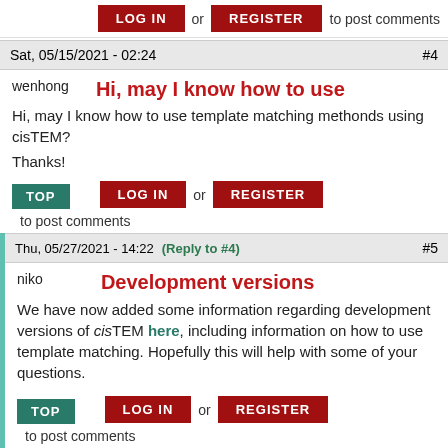LOG IN or REGISTER to post comments
Sat, 05/15/2021 - 02:24   #4
wenhong   Hi, may I know how to use
Hi, may I know how to use template matching methonds using cisTEM?

Thanks!
TOP   LOG IN or REGISTER to post comments
Thu, 05/27/2021 - 14:22 (Reply to #4)   #5
niko   Development versions
We have now added some information regarding development versions of cisTEM here, including information on how to use template matching. Hopefully this will help with some of your questions.
TOP   LOG IN or REGISTER to post comments